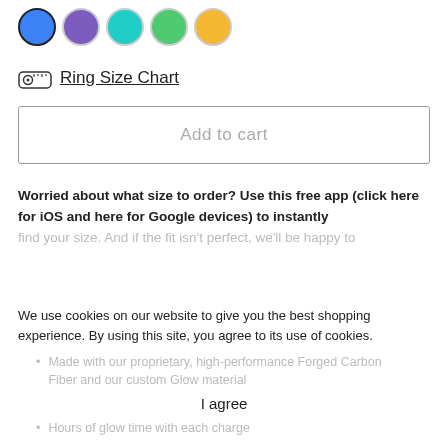[Figure (other): Five color selector circles: blue (selected), purple, teal, green, yellow]
Ring Size Chart
Add to cart
Worried about what size to order? Use this free app (click here for iOS and here for Google devices) to instantly find your size. And if the fit isn't perfect, we'll be happy to
We use cookies on our website to give you the best shopping experience. By using this site, you agree to its use of cookies.
Made with our proprietary, high-performance Forged Carbon Fiber and our custom Glow material
I agree
Hours of glow time with each charge